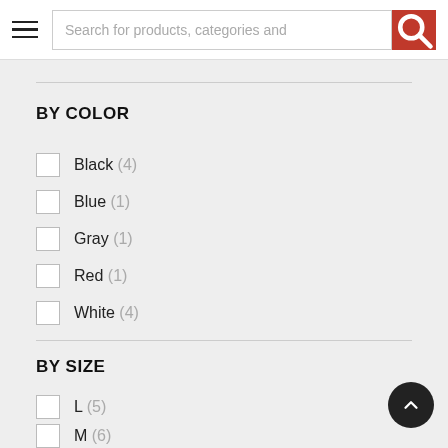Search for products, categories and
BY COLOR
Black (4)
Blue (1)
Gray (1)
Red (1)
White (4)
BY SIZE
L (5)
M (6)
S (5)